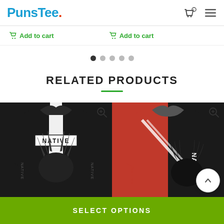PunsTee.
Add to cart  Add to cart
[Figure (other): Carousel pagination dots, 5 dots with first one active]
RELATED PRODUCTS
[Figure (photo): Black hoodie with NATIVE text and Native American headdress graphic design]
[Figure (photo): Red and black hoodie with NATIVE text and Native American headdress graphic design]
SELECT OPTIONS